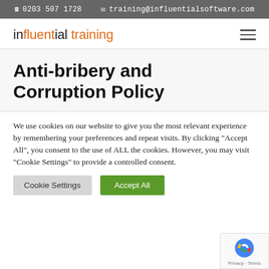☎ 0203 507 1728   ✉ training@influentialsoftware.com
[Figure (logo): Influential Training logo: 'influential' in black and 'training' in orange, with hamburger menu icon on right]
Anti-bribery and Corruption Policy
We use cookies on our website to give you the most relevant experience by remembering your preferences and repeat visits. By clicking "Accept All", you consent to the use of ALL the cookies. However, you may visit "Cookie Settings" to provide a controlled consent.
Cookie Settings   Accept All